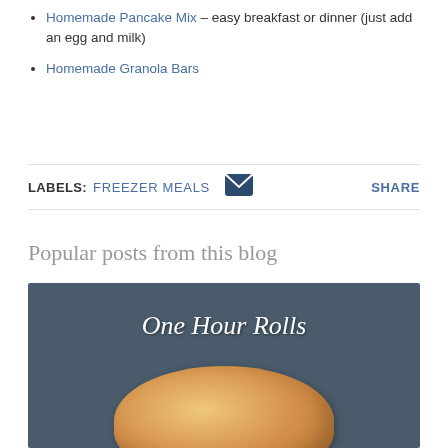Homemade Pancake Mix – easy breakfast or dinner (just add an egg and milk)
Homemade Granola Bars
LABELS: FREEZER MEALS   [email icon]   SHARE
Popular posts from this blog
[Figure (photo): Photo of one hour rolls — bread rolls on a dark teal background with handwritten text 'One Hour Rolls']